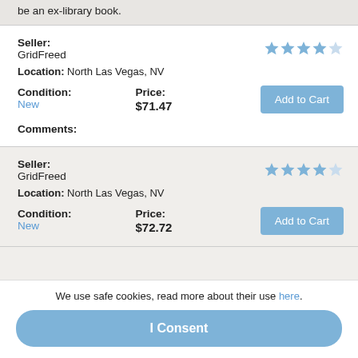be an ex-library book.
Seller: GridFreed
Location: North Las Vegas, NV
Condition: New
Price: $71.47
Comments:
Seller: GridFreed
Location: North Las Vegas, NV
Condition: New
Price: $72.72
We use safe cookies, read more about their use here.